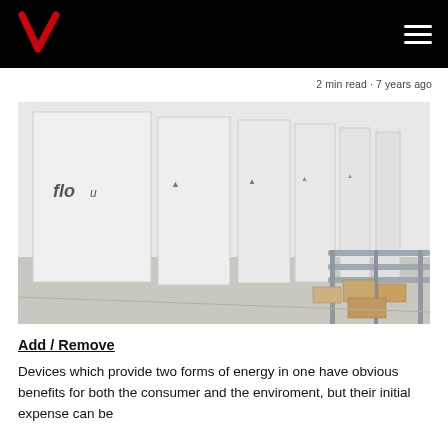Verizon logo and navigation bar
2 min read · 7 years ago
[Figure (photo): Row of large white battery/energy storage units in a warehouse or factory setting, with metal shelving and cardboard boxes visible in the background. The units have small logos on them.]
Add / Remove
Devices which provide two forms of energy in one have obvious benefits for both the consumer and the enviroment, but their initial expense can be